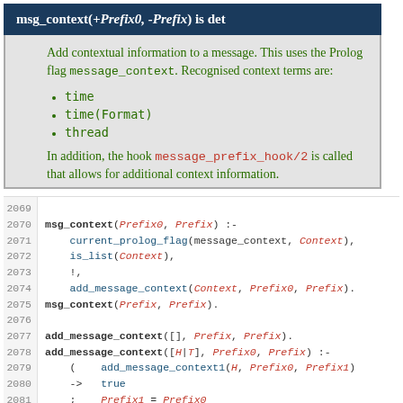msg_context(+Prefix0, -Prefix) is det
Add contextual information to a message. This uses the Prolog flag message_context. Recognised context terms are:
time
time(Format)
thread
In addition, the hook message_prefix_hook/2 is called that allows for additional context information.
[Figure (screenshot): Code listing lines 2069-2081 showing Prolog source code for msg_context and add_message_context predicates]